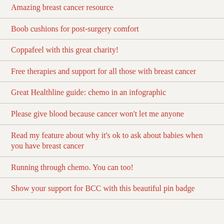Amazing breast cancer resource
Boob cushions for post-surgery comfort
Coppafeel with this great charity!
Free therapies and support for all those with breast cancer
Great Healthline guide: chemo in an infographic
Please give blood because cancer won't let me anyone
Read my feature about why it's ok to ask about babies when you have breast cancer
Running through chemo. You can too!
Show your support for BCC with this beautiful pin badge